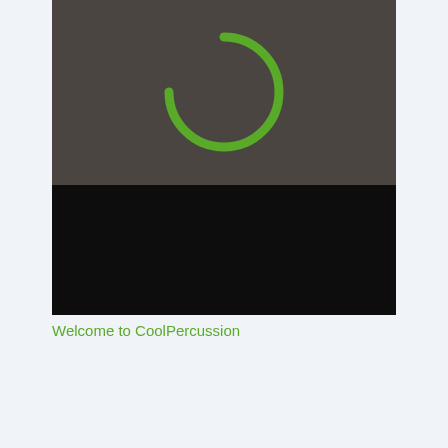[Figure (screenshot): Mobile app screenshot showing a loading spinner (green arc/partial circle) on a dark gray background (top half) and a black background (bottom half). The spinner is a green partial circle arc indicating loading state.]
Welcome to CoolPercussion